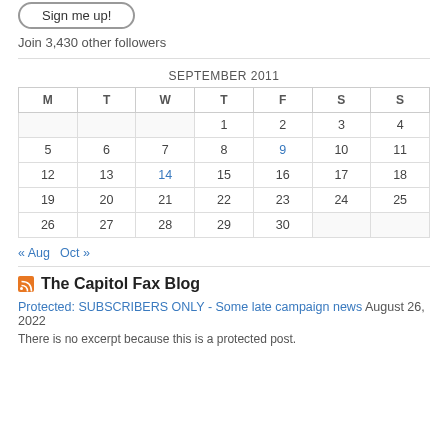[Figure (other): Sign me up! button with rounded border]
Join 3,430 other followers
| M | T | W | T | F | S | S |
| --- | --- | --- | --- | --- | --- | --- |
|  |  |  | 1 | 2 | 3 | 4 |
| 5 | 6 | 7 | 8 | 9 | 10 | 11 |
| 12 | 13 | 14 | 15 | 16 | 17 | 18 |
| 19 | 20 | 21 | 22 | 23 | 24 | 25 |
| 26 | 27 | 28 | 29 | 30 |  |  |
« Aug   Oct »
The Capitol Fax Blog
Protected: SUBSCRIBERS ONLY - Some late campaign news August 26, 2022
There is no excerpt because this is a protected post.